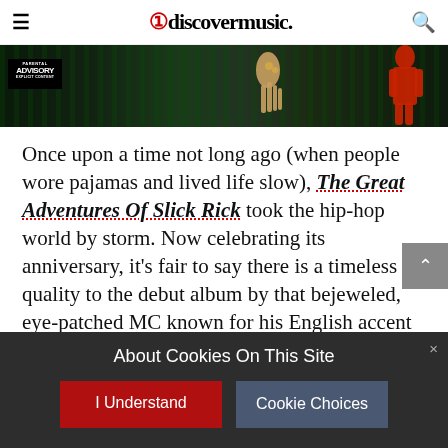uDiscoverMusic
[Figure (photo): Album banner image for The Great Adventures Of Slick Rick showing green city lights, a hand, and red figure with Parental Advisory sticker]
Once upon a time not long ago (when people wore pajamas and lived life slow), The Great Adventures Of Slick Rick took the hip-hop world by storm. Now celebrating its anniversary, it’s fair to say there is a timeless quality to the debut album by that bejeweled, eye-patched MC known for his English accent and masterful storytelling ability. To figure out what went into the making of The Great Adventures Of Slick Rick, we spoke to the man himself and went back to the beginning.
About Cookies On This Site
I Understand
Cookie Choices